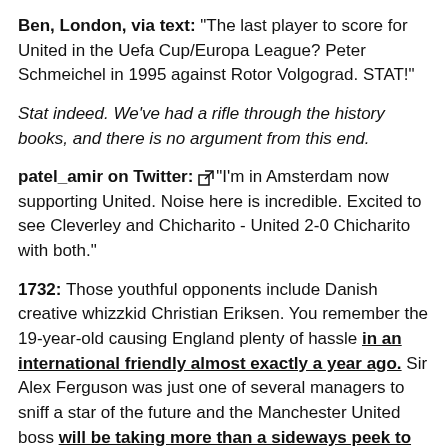Ben, London, via text: "The last player to score for United in the Uefa Cup/Europa League? Peter Schmeichel in 1995 against Rotor Volgograd. STAT!"
Stat indeed. We've had a rifle through the history books, and there is no argument from this end.
patel_amir on Twitter: [link] "I'm in Amsterdam now supporting United. Noise here is incredible. Excited to see Cleverley and Chicharito - United 2-0 Chicharito with both."
1732: Those youthful opponents include Danish creative whizzkid Christian Eriksen. You remember the 19-year-old causing England plenty of hassle in an international friendly almost exactly a year ago. Sir Alex Ferguson was just one of several managers to sniff a star of the future and the Manchester United boss will be taking more than a sideways peek to see how Eriksen gets on tonight. [link]
Ajax v Man Utd